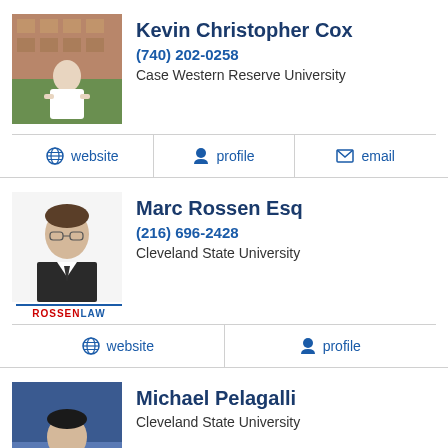Kevin Christopher Cox
(740) 202-0258
Case Western Reserve University
website | profile | email
Marc Rossen Esq
(216) 696-2428
Cleveland State University
website | profile
Michael Pelagalli
Cleveland State University